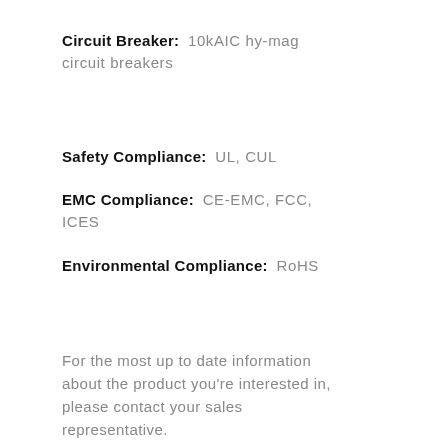Circuit Breaker: 10kAIC hy-mag circuit breakers
Safety Compliance: UL, CUL
EMC Compliance: CE-EMC, FCC, ICES
Environmental Compliance: RoHS
For the most up to date information about the product you're interested in, please contact your sales representative.